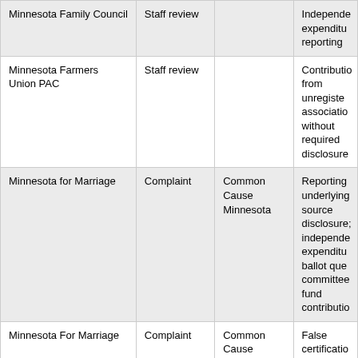| Organization | Type | Complainant | Issue |
| --- | --- | --- | --- |
| Minnesota Family Council | Staff review |  | Independent expenditure reporting |
| Minnesota Farmers Union PAC | Staff review |  | Contributions from unregistered associations without required disclosure |
| Minnesota for Marriage | Complaint | Common Cause Minnesota | Reporting underlying source disclosure; independent expenditure ballot question committee fund contributions |
| Minnesota For Marriage | Complaint | Common Cause Minnesota | False certification reporting; circumventing ballot que... |